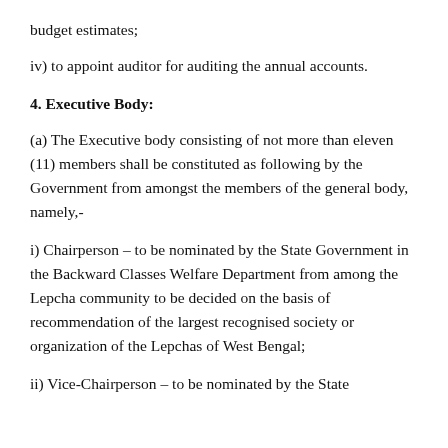budget estimates;
iv) to appoint auditor for auditing the annual accounts.
4. Executive Body:
(a) The Executive body consisting of not more than eleven (11) members shall be constituted as following by the Government from amongst the members of the general body, namely,-
i) Chairperson – to be nominated by the State Government in the Backward Classes Welfare Department from among the Lepcha community to be decided on the basis of recommendation of the largest recognised society or organization of the Lepchas of West Bengal;
ii) Vice-Chairperson – to be nominated by the State